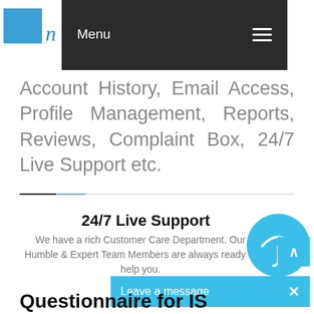[Figure (screenshot): Website navigation bar with dark background showing 'Menu' text and hamburger icon, with partial logo visible on left]
Account History, Email Access, Profile Management, Reports, Reviews, Complaint Box, 24/7 Live Support etc.
24/7 Live Support
We have a rich Customer Care Department. Our Humble & Expert Team Members are always ready to help you.
[Figure (illustration): Light blue circle with white umbrella icon]
Questionnaire for IS